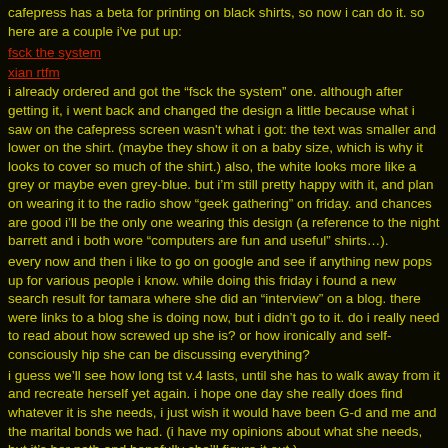cafepress has a beta for printing on black shirts, so now i can do it. so here are a couple i've put up:
fsck the system
xian rtfm
i already ordered and got the “fsck the system” one. although after getting it, i went back and changed the design a little because what i saw on the cafepress screen wasn't what i got: the text was smaller and lower on the shirt. (maybe they show it on a baby size, which is why it looks to cover so much of the shirt.) also, the white looks more like a grey or maybe even grey-blue. but i’m still pretty happy with it, and plan on wearing it to the radio show “geek gathering” on friday. and chances are good i’ll be the only one wearing this design (a reference to the night barrett and i both wore “computers are fun and useful” shirts…).
every now and then i like to go on google and see if anything new pops up for various people i know. while doing this friday i found a new search result for tamara where she did an “interview” on a blog. there were links to a blog she is doing now, but i didn’t go to it. do i really need to read about how screwed up she is? or how ironically and self-consciously hip she can be discussing everything?
i guess we’ll see how long tst v.4 lasts, until she has to walk away from it and recreate herself yet again. i hope one day she really does find whatever it is she needs, i just wish it would have been G-d and me and the marital bonds we had. (i have my opinions about what she needs, but it’s her path and hopefully she’ll figure it out.)
she really was a good person. but as in times past, she cut loose everything and redefined who she was, burning or leaving behind